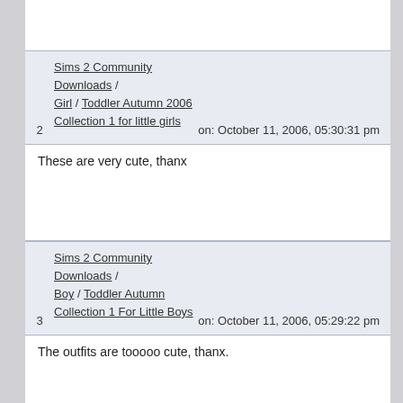2  Sims 2 Community Downloads / Girl / Toddler Autumn 2006 Collection 1 for little girls  on: October 11, 2006, 05:30:31 pm
These are very cute, thanx
3  Sims 2 Community Downloads / Boy / Toddler Autumn Collection 1 For Little Boys  on: October 11, 2006, 05:29:22 pm
The outfits are tooooo cute, thanx.